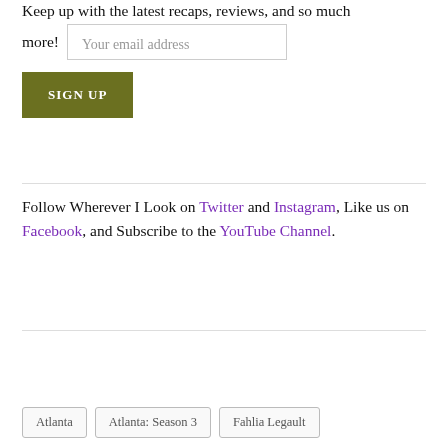Keep up with the latest recaps, reviews, and so much more!
Follow Wherever I Look on Twitter and Instagram, Like us on Facebook, and Subscribe to the YouTube Channel.
Atlanta
Atlanta: Season 3
Fahlia Legault